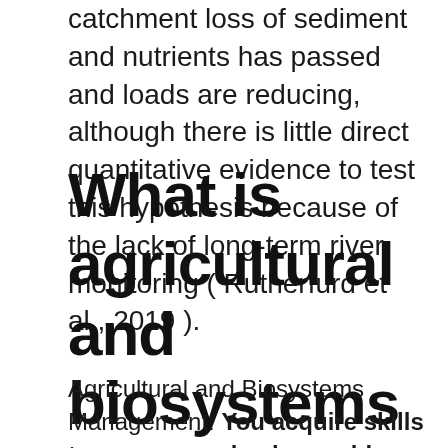catchment loss of sediment and nutrients has passed and loads are reducing, although there is little direct quantitative evidence to test this hypothesis because of the lack of long-term river monitoring ( Rutherfurd et al., 2019 ).
What is agricultural and biosystems management?
Agricultural and Biosystems Management: You acquire skills to manage and solve problems for a wide variety of agricultural systems. You'll get a broad